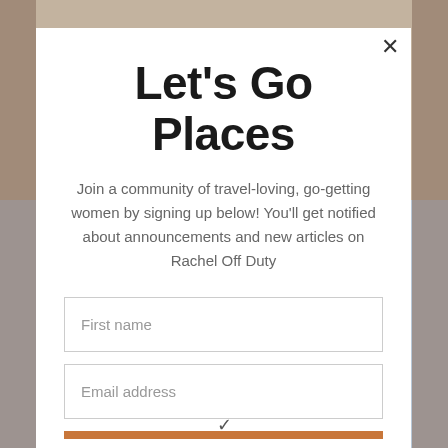Let's Go Places
Join a community of travel-loving, go-getting women by signing up below! You'll get notified about announcements and new articles on Rachel Off Duty
First name
Email address